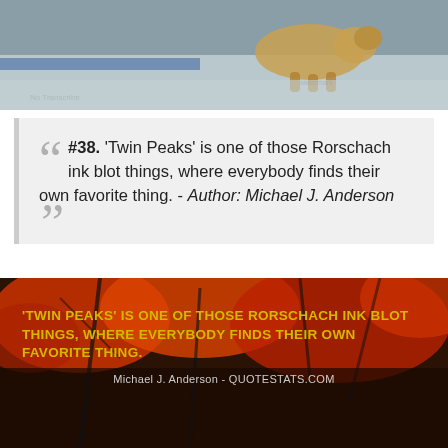[Figure (photo): Top portion of an outdoor photo showing an animal (appears to be a dog or cat) in snow, with blurred background showing snow and possibly fabric or tarp.]
““ #38. 'Twin Peaks' is one of those Rorschach ink blot things, where everybody finds their own favorite thing. - Author: Michael J. Anderson ””
[Figure (photo): Background photo of autumn red/orange tree leaves with dark branches. Overlaid with yellow bold text reading: 'TWIN PEAKS' IS ONE OF THOSE RORSCHACH INK BLOT THINGS, WHERE EVERYBODY FINDS THEIR OWN FAVORITE THING. and attribution: Michael J. Anderson - QUOTESTATS.COM]